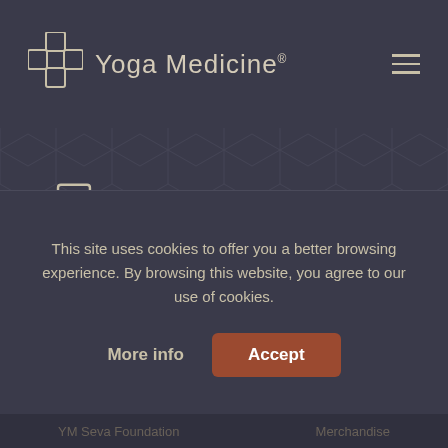Yoga Medicine® [logo] [hamburger menu]
[Figure (logo): Yoga Medicine logo with cross icon and brand name on dark background]
About
Our Founder
Our Team
Teacher Trainings
Programs Overview
About our 500HR
This site uses cookies to offer you a better browsing experience. By browsing this website, you agree to our use of cookies.
More info   Accept
YM Seva Foundation    Merchandise